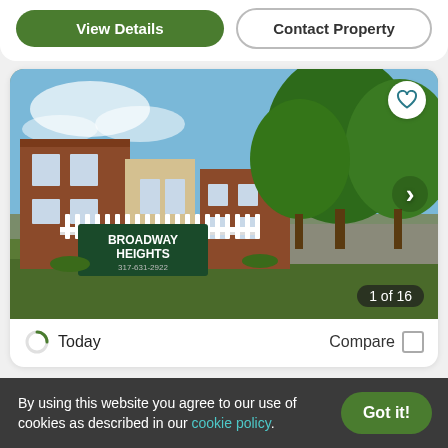[Figure (screenshot): Top of apartment listing card showing 'View Details' (green pill button) and 'Contact Property' (outlined pill button)]
[Figure (photo): Exterior photo of Broadway Heights apartment complex showing brick building, white fence with sign reading 'BROADWAY HEIGHTS' and phone number '317-631-2922', large green trees, blue sky. Shows '1 of 16' image counter and heart/favorite button.]
Today
Compare
By using this website you agree to our use of cookies as described in our cookie policy.
Got it!